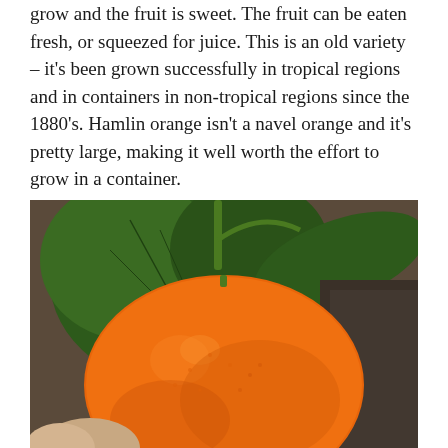grow and the fruit is sweet. The fruit can be eaten fresh, or squeezed for juice. This is an old variety – it's been grown successfully in tropical regions and in containers in non-tropical regions since the 1880's. Hamlin orange isn't a navel orange and it's pretty large, making it well worth the effort to grow in a container.
[Figure (photo): A close-up photograph of a bright orange Hamlin orange being held in a hand, with large dark green leaves visible behind it and a woody background.]